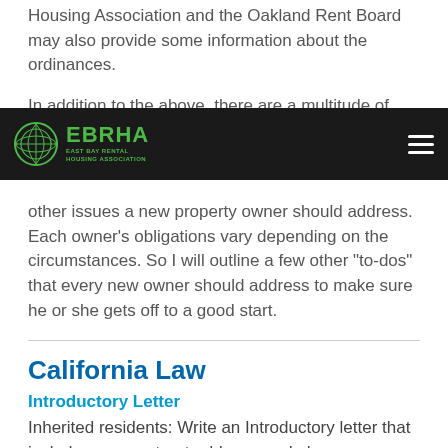Housing Association and the Oakland Rent Board may also provide some information about the ordinances.
In addition to the above, there are a multitude of other issues a new property owner should address. Each owner's obligations vary depending on the circumstances. So I will outline a few other “to-dos” that every new owner should address to make sure he or she gets off to a good start.
California Law
Introductory Letter
Inherited residents: Write an Introductory letter that includes name, street address, and phone